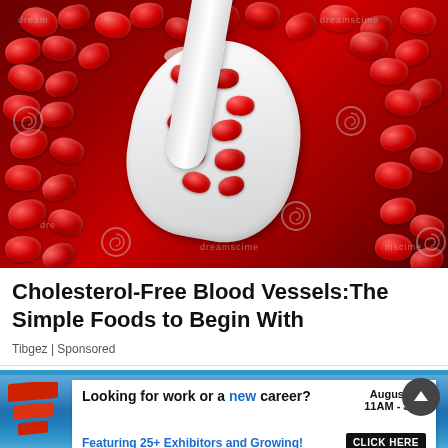[Figure (photo): Close-up photo of bright red pomegranate seeds with a white ceramic spoon, Dreamstime watermark visible]
Cholesterol-Free Blood Vessels:The Simple Foods to Begin With
Tibgez | Sponsored
[Figure (infographic): Advertisement banner: Looking for work or a new career? August 25, 11AM - 3PM. Featuring 25+ Exhibitors and Growing! CLICK HERE]